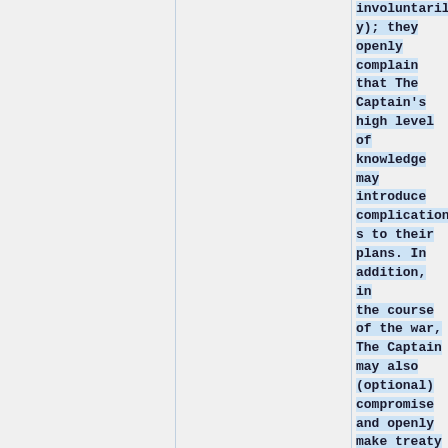involuntarily); they openly complain that The Captain's high level of knowledge may introduce complications to their plans. In addition, in the course of the war, The Captain may also (optional) compromise and openly make treaty